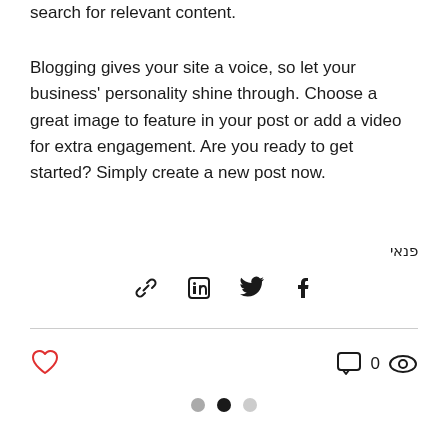search for relevant content.
Blogging gives your site a voice, so let your business' personality shine through. Choose a great image to feature in your post or add a video for extra engagement. Are you ready to get started? Simply create a new post now.
פנאי
[Figure (infographic): Social share icons: link/chain icon, LinkedIn icon, Twitter icon, Facebook icon]
[Figure (infographic): Reaction row: heart (like) icon on left; comment bubble icon, count '0', and eye/views icon on right]
[Figure (infographic): Pagination dots: three dots, left inactive grey, center active black, right lighter grey]